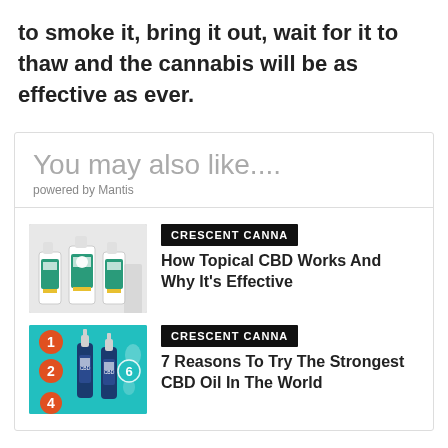to smoke it, bring it out, wait for it to thaw and the cannabis will be as effective as ever.
You may also like....
powered by Mantis
[Figure (photo): Product image of Crescent CBD topical roller bottles]
CRESCENT CANNA
How Topical CBD Works And Why It's Effective
[Figure (photo): Infographic showing numbered reasons with CBD oil dropper bottles on teal background]
CRESCENT CANNA
7 Reasons To Try The Strongest CBD Oil In The World